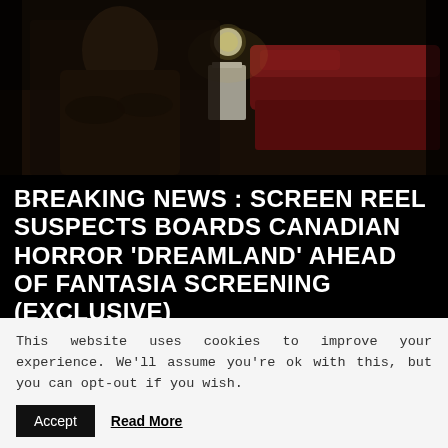[Figure (photo): Dark cinematic still from horror film showing a figure seated in a dimly lit room with a red sofa and lamp in the background]
BREAKING NEWS : SCREEN REEL SUSPECTS BOARDS CANADIAN HORROR 'DREAMLAND' AHEAD OF FANTASIA SCREENING (EXCLUSIVE)
[Figure (screenshot): Black video player embed box]
This website uses cookies to improve your experience. We'll assume you're ok with this, but you can opt-out if you wish.
Accept  Read More